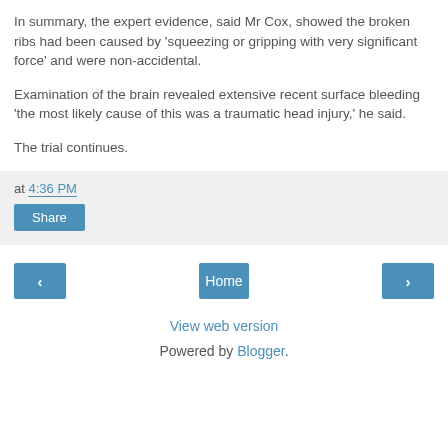In summary, the expert evidence, said Mr Cox, showed the broken ribs had been caused by 'squeezing or gripping with very significant force' and were non-accidental.
Examination of the brain revealed extensive recent surface bleeding 'the most likely cause of this was a traumatic head injury,' he said.
The trial continues.
at 4:36 PM
Share
Home
View web version
Powered by Blogger.